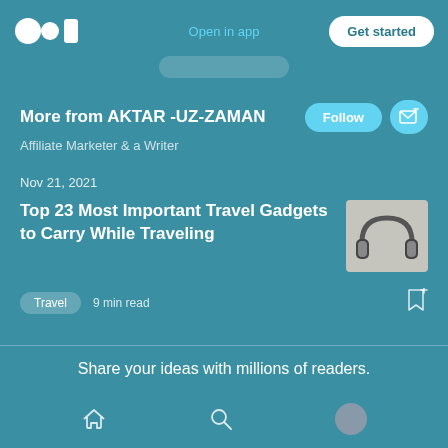[Figure (screenshot): Medium app top bar with logo, Open in app link, and Get started button]
More from AKTAR -UZ-ZAMAN
Affiliate Marketer & a Writer
Nov 21, 2021
Top 23 Most Important Travel Gadgets to Carry While Traveling
Travel  9 min read
Share your ideas with millions of readers.